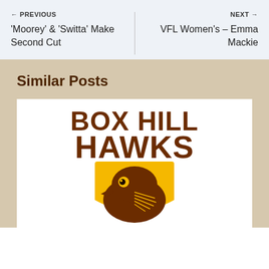← PREVIOUS
'Moorey' & 'Switta' Make Second Cut
NEXT →
VFL Women's – Emma Mackie
Similar Posts
[Figure (logo): Box Hill Hawks football club logo featuring large bold brown text 'BOX HILL HAWKS' above a hawk head illustration on a gold shield background]